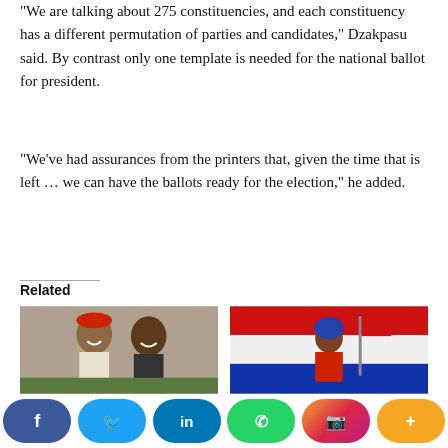“We are talking about 275 constituencies, and each constituency has a different permutation of parties and candidates,” Dzakpasu said. By contrast only one template is needed for the national ballot for president.
“We’ve had assurances from the printers that, given the time that is left … we can have the ballots ready for the election,” he added.
Related
[Figure (photo): Two men smiling together, one wearing a red cap and white outfit]
2023: Obi, Kwankwaso Yet To Agree On Presidential
[Figure (photo): Person wearing red and blue outfit with flags and political paraphernalia]
Ghana Opposition Leader Hails Reinstatement of